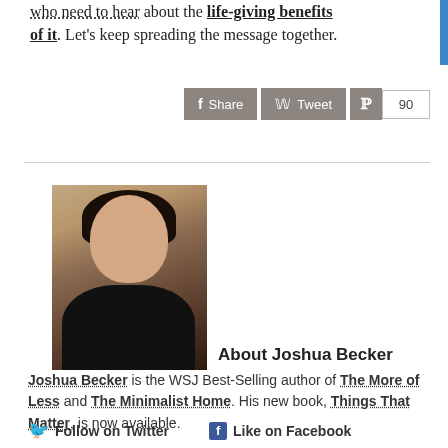who need to hear about the life-giving benefits of it. Let's keep spreading the message together.
[Figure (other): Social sharing buttons: Share (Facebook), Tweet (Twitter), Pinterest count showing 90]
[Figure (photo): Photo of Joshua Becker, a man with dark hair smiling, wearing a dark v-neck shirt, against a stone wall background]
About Joshua Becker
Joshua Becker is the WSJ Best-Selling author of The More of Less and The Minimalist Home. His new book, Things That Matter, is now available.
Follow on Twitter   Like on Facebook